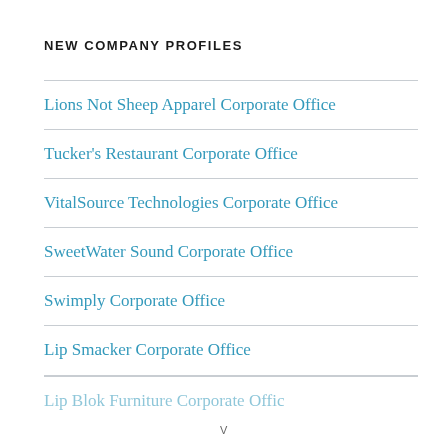NEW COMPANY PROFILES
Lions Not Sheep Apparel Corporate Office
Tucker's Restaurant Corporate Office
VitalSource Technologies Corporate Office
SweetWater Sound Corporate Office
Swimply Corporate Office
Lip Smacker Corporate Office
Lip Blok Furniture Corporate Office (partial)
V